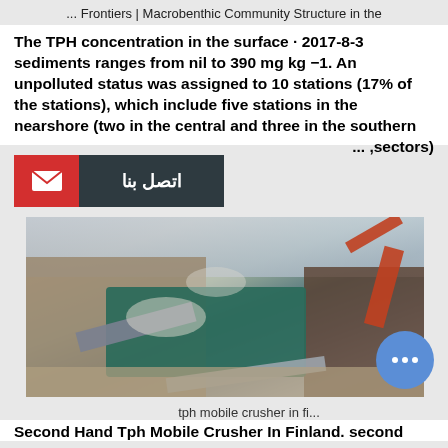... Frontiers | Macrobenthic Community Structure in the
The TPH concentration in the surface sediments ranges from nil to 390 mg kg −1. An unpolluted status was assigned to 10 stations (17% of the stations), which include five stations in the nearshore (two in the central and three in the southern ... ,sectors)
[Figure (other): Contact us button with red mail icon and dark grey Arabic text 'اتصل بنا']
[Figure (photo): Aerial photo of a tph mobile crusher machine operating in a quarry or open-pit mine in Finland, with dust and machinery visible.]
tph mobile crusher in fi...
Second Hand Tph Mobile Crusher In Finland. second